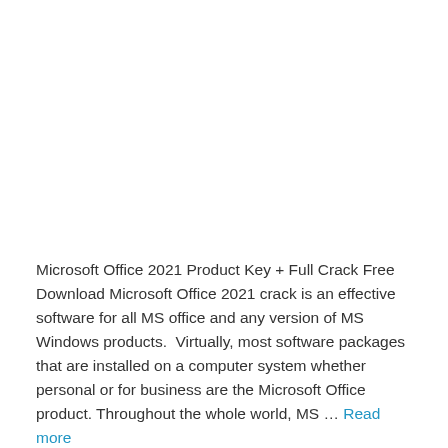Microsoft Office 2021 Product Key + Full Crack Free Download Microsoft Office 2021 crack is an effective software for all MS office and any version of MS Windows products.  Virtually, most software packages that are installed on a computer system whether personal or for business are the Microsoft Office product. Throughout the whole world, MS … Read more